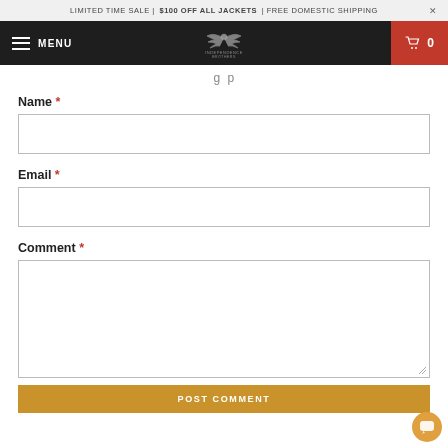LIMITED TIME SALE | $100 OFF ALL JACKETS | FREE DOMESTIC SHIPPING ×
[Figure (screenshot): Navigation bar with hamburger menu 'MENU', Independence Brothers logo, and red cart icon showing '0']
g p
Name *
Email *
Comment *
POST COMMENT